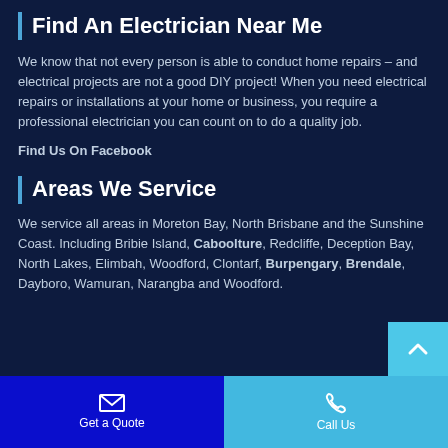Find An Electrician Near Me
We know that not every person is able to conduct home repairs – and electrical projects are not a good DIY project! When you need electrical repairs or installations at your home or business, you require a professional electrician you can count on to do a quality job.
Find Us On Facebook
Areas We Service
We service all areas in Moreton Bay, North Brisbane and the Sunshine Coast. Including Bribie Island, Caboolture, Redcliffe, Deception Bay, North Lakes, Elimbah, Woodford, Clontarf, Burpengary, Brendale, Dayboro, Wamuran, Narangba and Woodford.
Get a Quote | Call Us